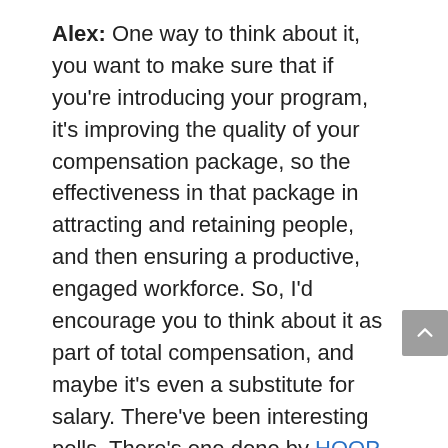Alex: One way to think about it, you want to make sure that if you're introducing your program, it's improving the quality of your compensation package, so the effectiveness in that package in attracting and retaining people, and then ensuring a productive, engaged workforce. So, I'd encourage you to think about it as part of total compensation, and maybe it's even a substitute for salary. There've been interesting polls. There's one done by HOOP Huq recently to say that most Canadians, over 75%, would be prepared to accept a lower salary in exchange for a high quality retirement plan. And your employees may be in that 75%. You need to make sure it's high quality, but your biggest cost is likely to be